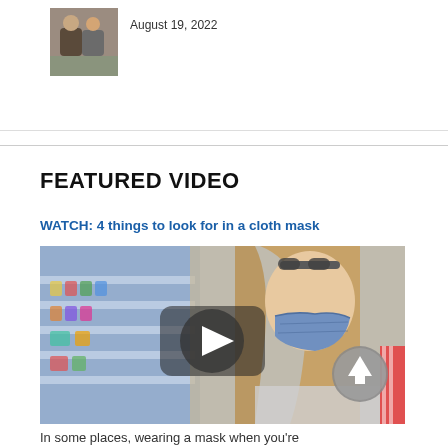August 19, 2022
[Figure (photo): Small thumbnail photo of two people]
FEATURED VIDEO
WATCH: 4 things to look for in a cloth mask
[Figure (photo): Video thumbnail showing a woman wearing a blue cloth mask in a store, with a play button overlay and an up-arrow circle button]
In some places, wearing a mask when you're